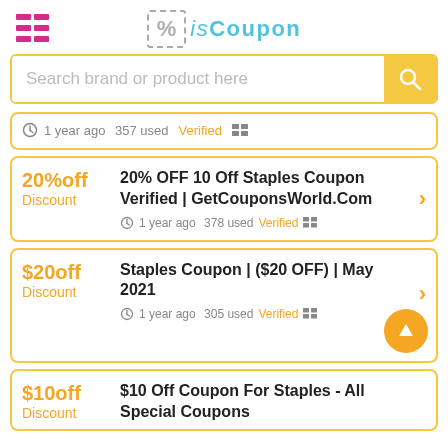isCoupon logo with menu icon and search bar
1 year ago  357 used  Verified
20%off Discount | 20% OFF 10 Off Staples Coupon Verified | GetCouponsWorld.Com | 1 year ago  378 used  Verified
$20off Discount | Staples Coupon | ($20 OFF) | May 2021 | 1 year ago  305 used  Verified
$10off Discount | $10 Off Coupon For Staples - All Special Coupons